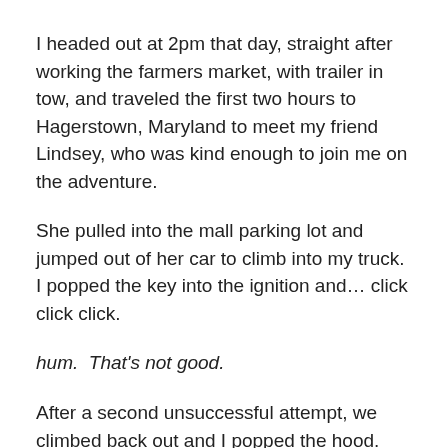I headed out at 2pm that day, straight after working the farmers market, with trailer in tow, and traveled the first two hours to Hagerstown, Maryland to meet my friend Lindsey, who was kind enough to join me on the adventure.
She pulled into the mall parking lot and jumped out of her car to climb into my truck.  I popped the key into the ignition and… click click click.
hum.  That's not good.
After a second unsuccessful attempt, we climbed back out and I popped the hood.
I admit, a full wave of total panic flooded over me.
Lindsey asked if I had jumper cables and I am completely